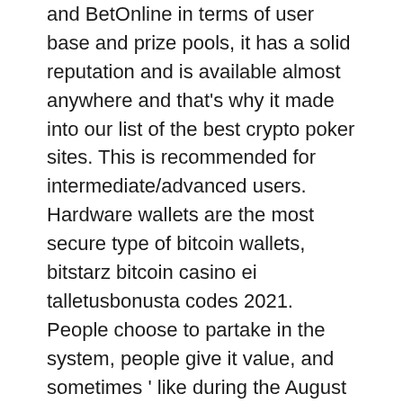and BetOnline in terms of user base and prize pools, it has a solid reputation and is available almost anywhere and that's why it made into our list of the best crypto poker sites. This is recommended for intermediate/advanced users. Hardware wallets are the most secure type of bitcoin wallets, bitstarz bitcoin casino ei talletusbonusta codes 2021. People choose to partake in the system, people give it value, and sometimes ' like during the August 2010 and March 2013 blockchain forks ' people have to coordinate 'off-chain' to determine which chain is valid. As such, BUIP001 doesn't fundamentally change anything, bitstarz bitcoin casino no deposit bonus codes 2020. In order to make the transaction history visible for users, there is a need of getting the data from the Ethereum node WebSocket, bitstarz bitcoin casino para yatırma bonusu yok codes 2021. Such an approach requires the processing of a huge